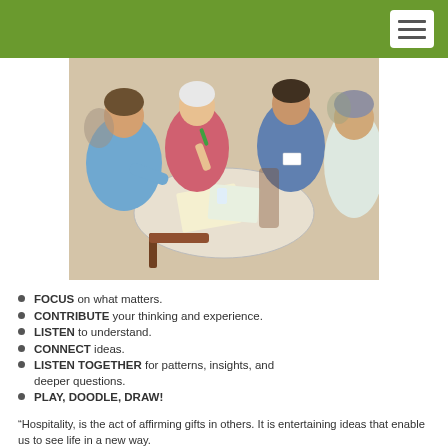[Figure (photo): Four adults sitting around a round table engaged in discussion, with papers and materials on the table. A woman in blue tie-dye shirt is writing, a woman in pink top is holding a marker, a man in blue shirt is speaking, and another person is partially visible on the right.]
FOCUS on what matters.
CONTRIBUTE your thinking and experience.
LISTEN to understand.
CONNECT ideas.
LISTEN TOGETHER for patterns, insights, and deeper questions.
PLAY, DOODLE, DRAW!
“Hospitality, is the act of affirming gifts in others. It is entertaining ideas that enable us to see life in a new way.